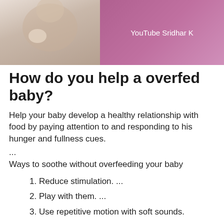[Figure (screenshot): Thumbnail image split in two: left side shows a photo of a person holding a baby (warm muted tones), right side has a pink/purple gradient background with white text 'YouTube Sridhar K']
How do you help a overfed baby?
Help your baby develop a healthy relationship with food by paying attention to and responding to his hunger and fullness cues.
...
Ways to soothe without overfeeding your baby
Reduce stimulation. ...
Play with them. ...
Use repetitive motion with soft sounds.
...